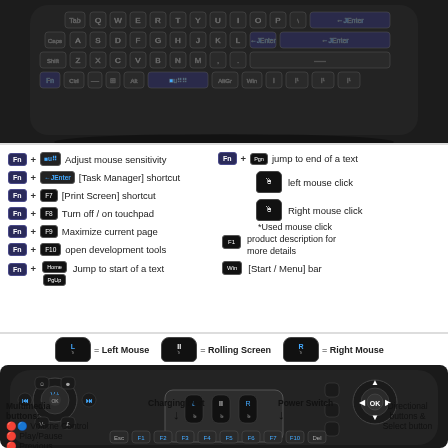[Figure (photo): Top-down photo of a mini wireless keyboard with touchpad, black keys with blue backlight, QWERTY layout]
Fn + [mouse sensitivity key] — Adjust mouse sensitivity
Fn + [Enter] — [Task Manager] shortcut
Fn + F7 — [Print Screen] shortcut
Fn + F8 — Turn off / on touchpad
Fn + F9 — Maximize current page
Fn + F10 — open development tools
Fn + [PgUp/Home key] — Jump to start of a text
Fn + [pgn key] — jump to end of a text
[left mouse button icon] — left mouse click
[right mouse button icon] — Right mouse click *Used mouse click product description for more details
[F1 key] — product description for more details
[Win key] — [Start / Menu] bar
[Figure (infographic): Bottom of wireless keyboard showing: L = Left Mouse, middle = Rolling Screen, R = Right Mouse icons; labels for Multimedia buttons (Volume Control, Play/Pause, Previous, Next/Skip, Mute), Charging Port with arrow, Power Switch with arrow, Directional buttons & Select button]
Multimedia buttons: Volume Control, Play/Pause, Previous, Next/Skip, Mute
Charging Port
Power Switch
Directional buttons & Select button